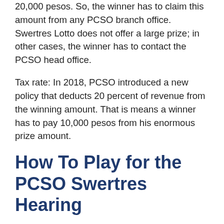20,000 pesos. So, the winner has to claim this amount from any PCSO branch office. Swertres Lotto does not offer a large prize; in other cases, the winner has to contact the PCSO head office.
Tax rate: In 2018, PCSO introduced a new policy that deducts 20 percent of revenue from the winning amount. That is means a winner has to pay 10,000 pesos from his enormous prize amount.
How To Play for the PCSO Swertres Hearing
Here is the whole procedure that you can play for the PCSO Swertres hearing;
1. You have to choose three numbers from